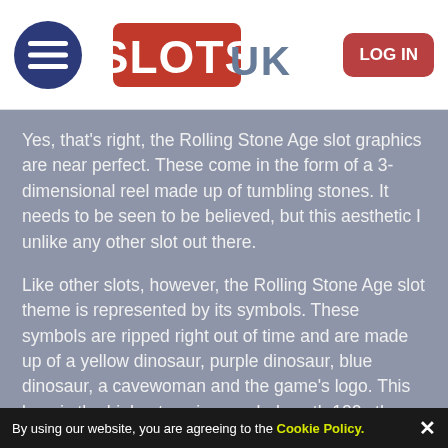[Figure (logo): Slots UK website header with hamburger menu icon, SLOTS UK logo in red and metallic text, and a LOG IN button]
Yes, that's right, the Rolling Stone Age slot graphics are near perfect. These come in the form of a 3-dimensional reel made up of tumbling stones. It needs to be seen to be believed, but this aesthetic I unlike any other slot out there.
Like other slots, however, the Rolling Stone Age slot theme is represented by its symbols. These symbols are ripped right out of time and are made up of a yellow dinosaur, purple dinosaur, blue dinosaur, a cavewoman and the game's logo. This logo is the highest paying symbol worth 100x the player's stake for five across a pay line. Lower-paying card royals also take up space on the reels, adding some more
By using our website, you are agreeing to the Cookie Policy.